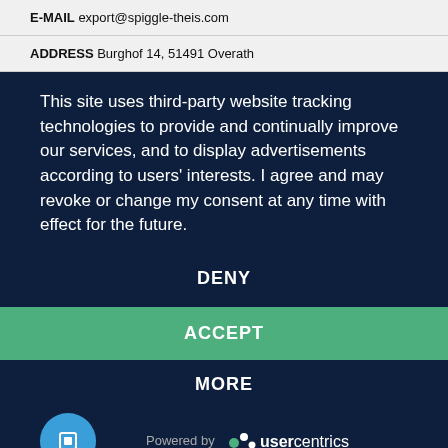E-MAIL export@spiggle-theis.com
ADDRESS Burghof 14, 51491 Overath
This site uses third-party website tracking technologies to provide and continually improve our services, and to display advertisements according to users' interests. I agree and may revoke or change my consent at any time with effect for the future.
DENY
ACCEPT
MORE
[Figure (logo): Usercentrics logo with circular icon and text 'Powered by usercentrics']